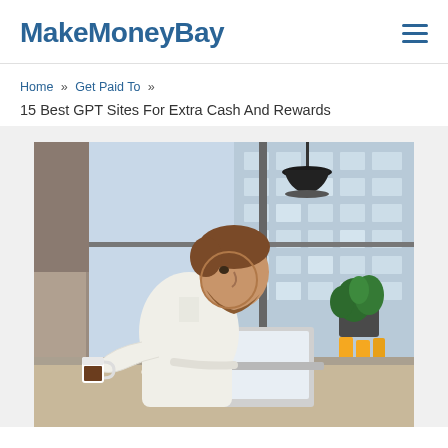MakeMoney Bay
Home » Get Paid To » 15 Best GPT Sites For Extra Cash And Rewards
[Figure (photo): A bearded man in a white shirt sitting at a desk, holding a coffee cup and looking at a laptop, in a modern office with large windows and a green plant in the background]